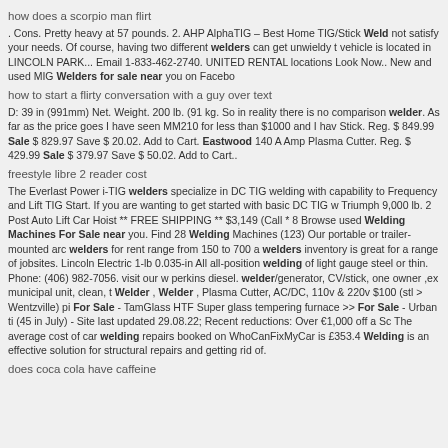how does a scorpio man flirt
. Cons. Pretty heavy at 57 pounds. 2. AHP AlphaTIG – Best Home TIG/Stick Weld not satisfy your needs. Of course, having two different welders can get unwieldy t vehicle is located in LINCOLN PARK... Email 1-833-462-2740. UNITED RENTAL locations Look Now.. New and used MIG Welders for sale near you on Facebo
how to start a flirty conversation with a guy over text
D: 39 in (991mm) Net. Weight. 200 lb. (91 kg. So in reality there is no comparison welder. As far as the price goes I have seen MM210 for less than $1000 and I hav Stick. Reg. $ 849.99 Sale $ 829.97 Save $ 20.02. Add to Cart. Eastwood 140 A Amp Plasma Cutter. Reg. $ 429.99 Sale $ 379.97 Save $ 50.02. Add to Cart..
freestyle libre 2 reader cost
The Everlast Power i-TIG welders specialize in DC TIG welding with capability to Frequency and Lift TIG Start. If you are wanting to get started with basic DC TIG w Triumph 9,000 lb. 2 Post Auto Lift Car Hoist ** FREE SHIPPING ** $3,149 (Call * 8 Browse used Welding Machines For Sale near you. Find 28 Welding Machines (123) Our portable or trailer-mounted arc welders for rent range from 150 to 700 a welders inventory is great for a range of jobsites. Lincoln Electric 1-lb 0.035-in All all-position welding of light gauge steel or thin. Phone: (406) 982-7056. visit our w perkins diesel. welder/generator, CV/stick, one owner ,ex municipal unit, clean, t Welder , Welder , Plasma Cutter, AC/DC, 110v & 220v $100 (stl > Wentzville) pi For Sale - TamGlass HTF Super glass tempering furnace >> For Sale - Urban ti (45 in July) - Site last updated 29.08.22; Recent reductions: Over €1,000 off a Sc The average cost of car welding repairs booked on WhoCanFixMyCar is £353.4 Welding is an effective solution for structural repairs and getting rid of.
does coca cola have caffeine